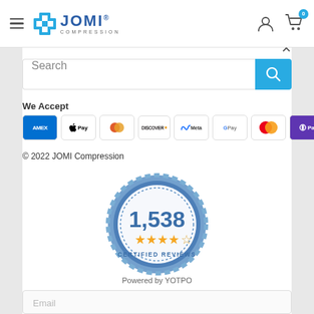[Figure (screenshot): JOMI Compression website header with hamburger menu, logo, user icon, and cart with badge '0']
[Figure (screenshot): Search bar with placeholder text 'Search' and teal search button]
We Accept
[Figure (infographic): Payment method icons: AMEX, Apple Pay, Diners, Discover, Meta, Google Pay, Mastercard, OPay, VISA]
© 2022 JOMI Compression
[Figure (infographic): Certified Reviews badge showing 1,538 reviews with 4.5 stars and text 'CERTIFIED REVIEWS']
Powered by YOTPO
Email